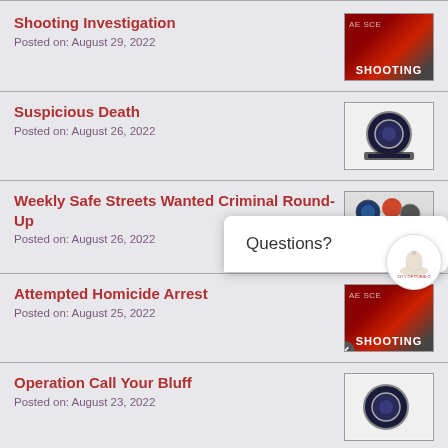Shooting Investigation
Posted on: August 29, 2022
Suspicious Death
Posted on: August 26, 2022
Weekly Safe Streets Wanted Criminal Round-Up
Posted on: August 26, 2022
Attempted Homicide Arrest
Posted on: August 25, 2022
Operation Call Your Bluff
Posted on: August 23, 2022
Robbery Arrest